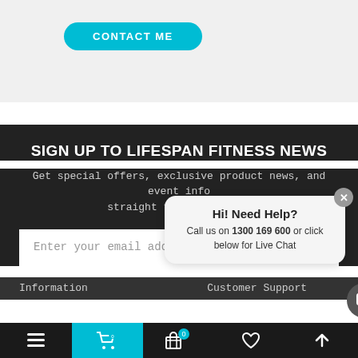[Figure (screenshot): Contact Me button - cyan/teal rounded pill button with white uppercase text 'CONTACT ME' on a light gray background]
SIGN UP TO LIFESPAN FITNESS NEWS
Get special offers, exclusive product news, and event info straight to your inbox.
[Figure (screenshot): Email signup form with text input 'Enter your email address...' and a white 'Join' button]
[Figure (screenshot): Chat popup overlay: 'Hi! Need Help? Call us on 1300 169 600 or click below for Live Chat' with close X button and chat icon button]
Information
Customer Support
[Figure (screenshot): Mobile bottom navigation bar with menu, cart (active/cyan), basket with badge 0, heart, and up-arrow icons]